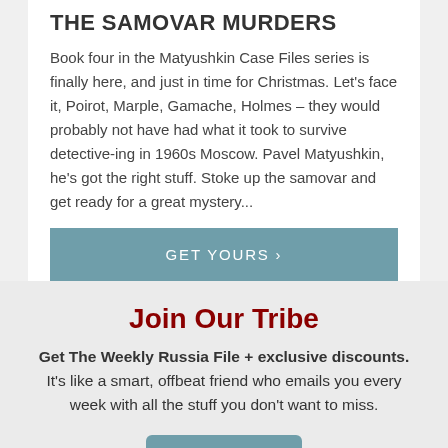THE SAMOVAR MURDERS
Book four in the Matyushkin Case Files series is finally here, and just in time for Christmas. Let's face it, Poirot, Marple, Gamache, Holmes – they would probably not have had what it took to survive detective-ing in 1960s Moscow. Pavel Matyushkin, he's got the right stuff. Stoke up the samovar and get ready for a great mystery...
GET YOURS ›
Join Our Tribe
Get The Weekly Russia File + exclusive discounts. It's like a smart, offbeat friend who emails you every week with all the stuff you don't want to miss.
Join Now